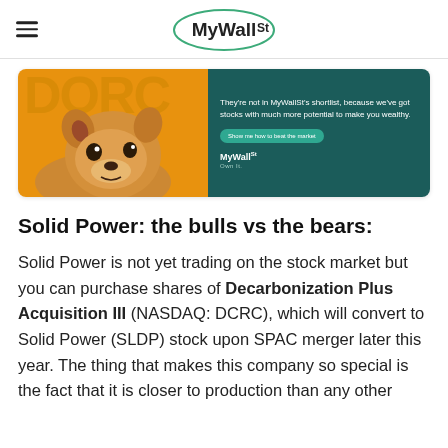MyWallSt
[Figure (illustration): MyWallSt advertisement banner with a Shiba Inu dog on an orange background on the left, and teal panel on the right with text: 'They're not in MyWallSt's shortlist, because we've got stocks with much more potential to make you wealthy.' A green button reads 'Show me how to beat the market' and the MyWallSt logo appears below.]
Solid Power: the bulls vs the bears:
Solid Power is not yet trading on the stock market but you can purchase shares of Decarbonization Plus Acquisition III (NASDAQ: DCRC), which will convert to Solid Power (SLDP) stock upon SPAC merger later this year. The thing that makes this company so special is the fact that it is closer to production than any other